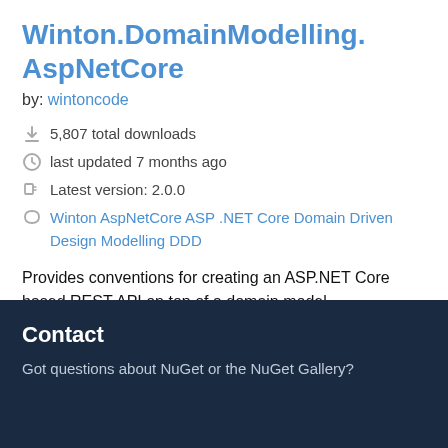Winton.DomainModelling.AspNetCore
by: wintoncode
5,807 total downloads
last updated 7 months ago
Latest version: 2.0.0
Winton AspNetCore ASP .NET Core Domain Driven Design Modelling DDD
Provides conventions for creating an ASP.NET Core based REST API on top of a domain model.
Contact
Got questions about NuGet or the NuGet Gallery?